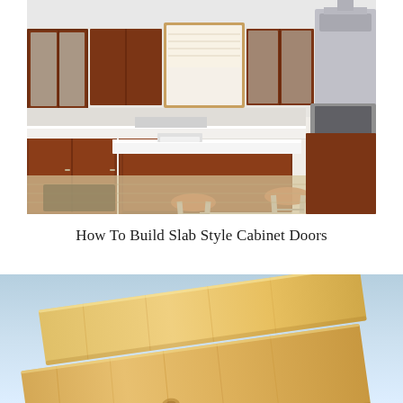[Figure (photo): Modern kitchen with dark cherry wood cabinets, white countertops, kitchen island with two orange bar stools, stainless steel appliances, and a window above the sink area]
How To Build Slab Style Cabinet Doors
[Figure (photo): Two light pine wood boards/planks laid flat on a light blue-white background, showing wood grain texture]